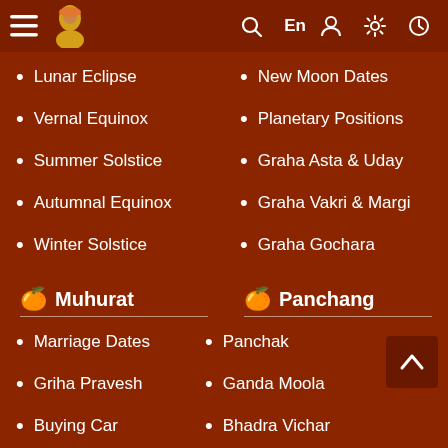Navigation bar with menu, logo, search, En, user, settings, clock icons
Lunar Eclipse
New Moon Dates
Vernal Equinox
Planetary Positions
Summer Solstice
Graha Asta & Uday
Autumnal Equinox
Graha Vakri & Margi
Winter Solstice
Graha Gochara
Muhurat
Panchang
Marriage Dates
Panchak
Griha Pravesh
Ganda Moola
Buying Car
Bhadra Vichar
Property Purchase
Rahu Kalam
Nakshatra
Abhijit Nakshatra (partially visible)